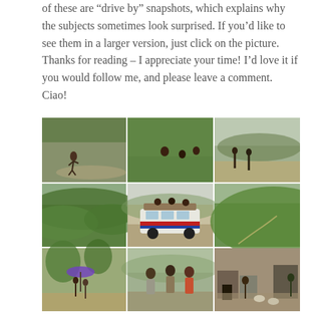of these are “drive by” snapshots, which explains why the subjects sometimes look surprised. If you’d like to see them in a larger version, just click on the picture. Thanks for reading – I appreciate your time! I’d love it if you would follow me, and please leave a comment. Ciao!
[Figure (photo): Grid of 9 photographs showing scenes from Ethiopia/Africa: children playing, people walking on dirt roads, a minibus taxi overloaded with passengers and goods on the roof, green hilly landscapes, a village market scene with goats and people, and people standing outdoors with an umbrella.]